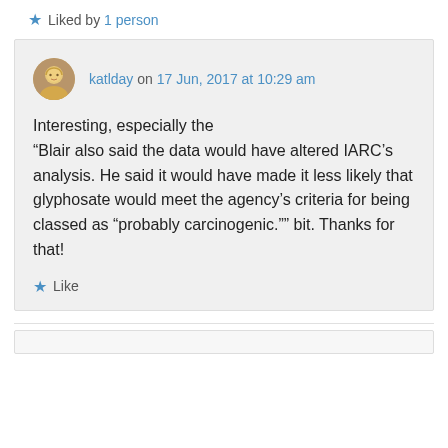★ Liked by 1 person
katlday on 17 Jun, 2017 at 10:29 am
Interesting, especially the “Blair also said the data would have altered IARC’s analysis. He said it would have made it less likely that glyphosate would meet the agency’s criteria for being classed as “probably carcinogenic.”” bit. Thanks for that!
★ Like